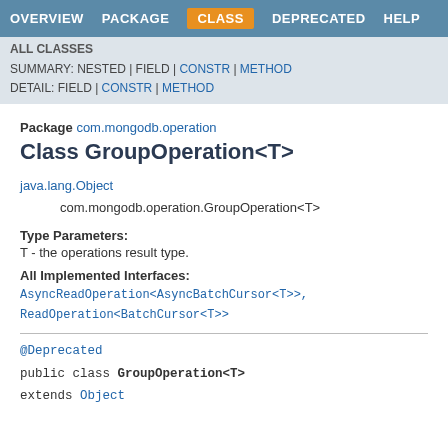OVERVIEW  PACKAGE  CLASS  DEPRECATED  HELP
ALL CLASSES
SUMMARY: NESTED | FIELD | CONSTR | METHOD
DETAIL: FIELD | CONSTR | METHOD
Package com.mongodb.operation
Class GroupOperation<T>
java.lang.Object
    com.mongodb.operation.GroupOperation<T>
Type Parameters:
T - the operations result type.
All Implemented Interfaces:
AsyncReadOperation<AsyncBatchCursor<T>>, ReadOperation<BatchCursor<T>>
@Deprecated
public class GroupOperation<T>
extends Object